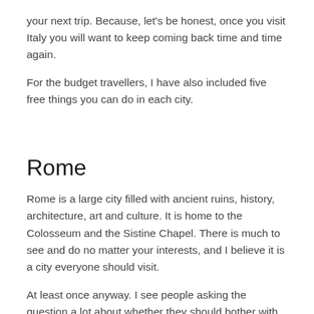your next trip. Because, let's be honest, once you visit Italy you will want to keep coming back time and time again.
For the budget travellers, I have also included five free things you can do in each city.
Rome
Rome is a large city filled with ancient ruins, history, architecture, art and culture. It is home to the Colosseum and the Sistine Chapel. There is much to see and do no matter your interests, and I believe it is a city everyone should visit.
At least once anyway. I see people asking the question a lot about whether they should bother with Rome or not.